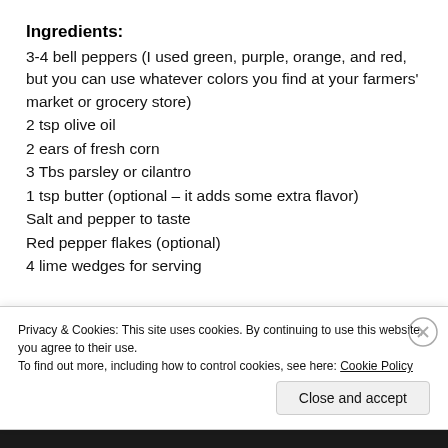Ingredients:
3-4 bell peppers (I used green, purple, orange, and red, but you can use whatever colors you find at your farmers' market or grocery store)
2 tsp olive oil
2 ears of fresh corn
3 Tbs parsley or cilantro
1 tsp butter (optional – it adds some extra flavor)
Salt and pepper to taste
Red pepper flakes (optional)
4 lime wedges for serving
Privacy & Cookies: This site uses cookies. By continuing to use this website, you agree to their use. To find out more, including how to control cookies, see here: Cookie Policy
Close and accept